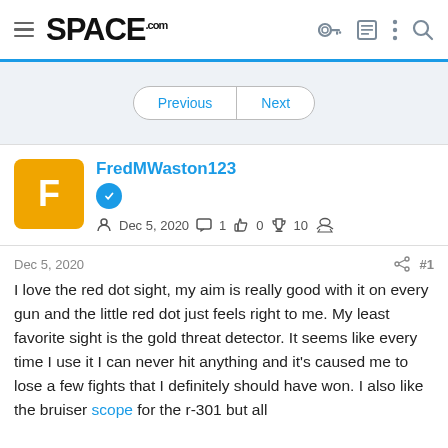SPACE.com
Previous | Next
FredMWaston123
Dec 5, 2020  1  0  10
Dec 5, 2020  #1
I love the red dot sight, my aim is really good with it on every gun and the little red dot just feels right to me. My least favorite sight is the gold threat detector. It seems like every time I use it I can never hit anything and it's caused me to lose a few fights that I definitely should have won. I also like the bruiser scope for the r-301 but all